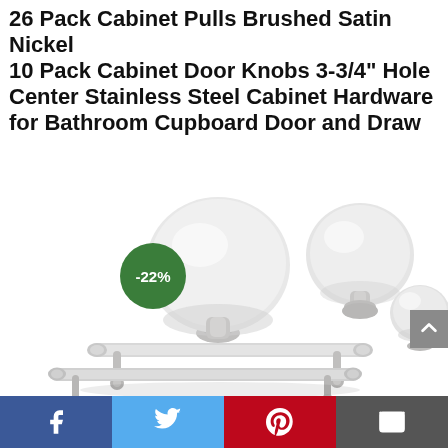26 Pack Cabinet Pulls Brushed Satin Nickel 10 Pack Cabinet Door Knobs 3-3/4" Hole Center Stainless Steel Cabinet Hardware for Bathroom Cupboard Door and Draw
[Figure (photo): Product photo of brushed satin nickel cabinet knobs (three round disc-shaped knobs of varying sizes) and two T-bar cabinet pulls arranged on white background. A green circular badge shows '-22%' discount.]
Facebook | Twitter | Pinterest | Email